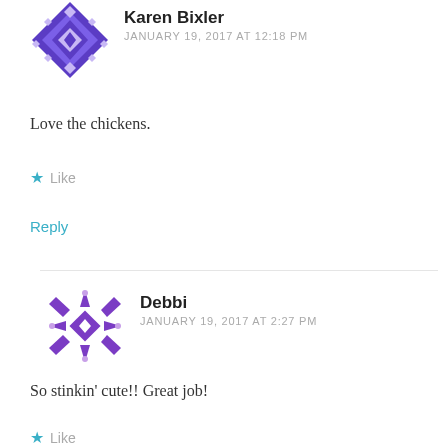[Figure (illustration): Purple diamond/quilt pattern avatar for Karen Bixler]
Karen Bixler
JANUARY 19, 2017 AT 12:18 PM
Love the chickens.
★ Like
Reply
[Figure (illustration): Purple snowflake/star pattern avatar for Debbi]
Debbi
JANUARY 19, 2017 AT 2:27 PM
So stinkin' cute!! Great job!
★ Like
Reply